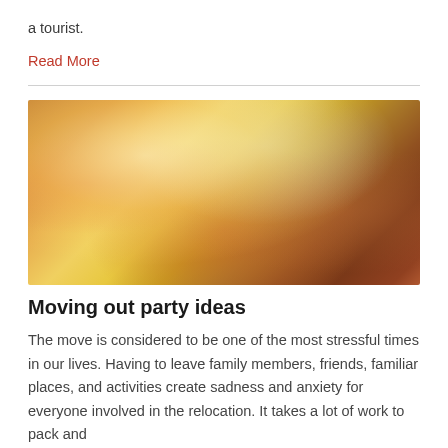a tourist.
Read More
[Figure (photo): Group of people clinking wine glasses in a celebration toast, with bokeh lights and a warm festive background]
Moving out party ideas
The move is considered to be one of the most stressful times in our lives. Having to leave family members, friends, familiar places, and activities create sadness and anxiety for everyone involved in the relocation. It takes a lot of work to pack and